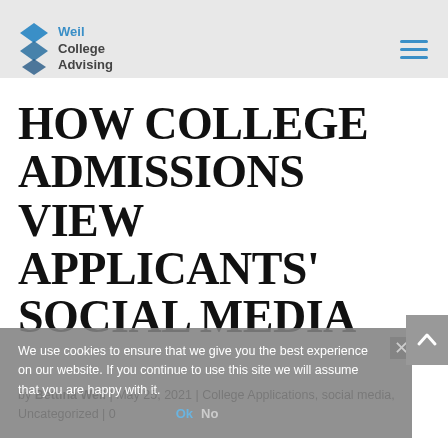Weil College Advising
HOW COLLEGE ADMISSIONS VIEW APPLICANTS' SOCIAL MEDIA
We use cookies to ensure that we give you the best experience on our website. If you continue to use this site we will assume that you are happy with it.
by Bettina Weil | May 25, 2021 | College Applications, social media, Uncategorized | 0